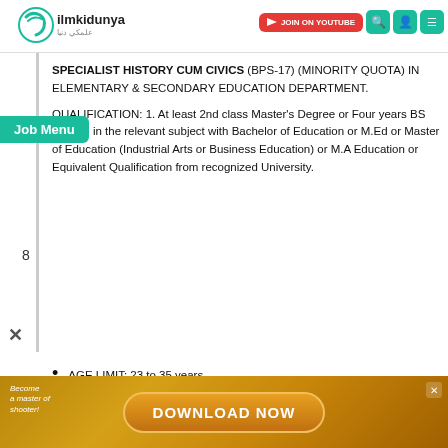ilmkidunya - JOIN ON YOUTUBE
Job Menu
SPECIALIST HISTORY CUM CIVICS (BPS-17) (MINORITY QUOTA) IN ELEMENTARY & SECONDARY EDUCATION DEPARTMENT. QUALIFICATION: 1. At least 2nd class Master's Degree or Four years BS Degree in the relevant subject with Bachelor of Education or M.Ed or Master of Education (Industrial Arts or Business Education) or M.A Education or Equivalent Qualification from recognized University.
AGE LIMIT: 23 to 35 years
PAY SCALE: BPS-17
ELIGIBILITY: Male